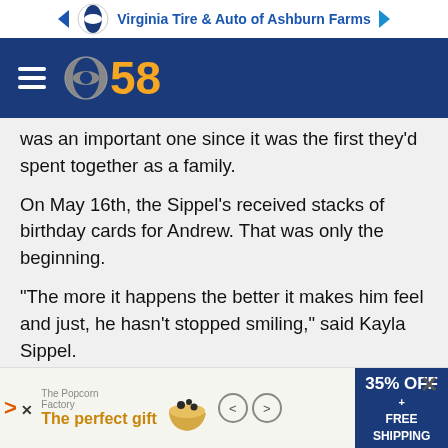[Figure (screenshot): Top advertisement banner for Virginia Tire & Auto of Ashburn Farms with navigation arrows and logo]
[Figure (logo): CBS 58 logo with hamburger menu on dark blue navigation bar]
was an important one since it was the first they'd spent together as a family.
On May 16th, the Sippel's received stacks of birthday cards for Andrew. That was only the beginning.
"The more it happens the better it makes him feel and just, he hasn't stopped smiling," said Kayla Sippel.
She said the gifts and birthday cards keep coming in. Sippel said Andrew anticipates the arrival of the mailman every day.
The Sippel's gather...
[Figure (screenshot): Bottom advertisement banner for 'The perfect gift' with 35% OFF + FREE SHIPPING, showing food bowl product]